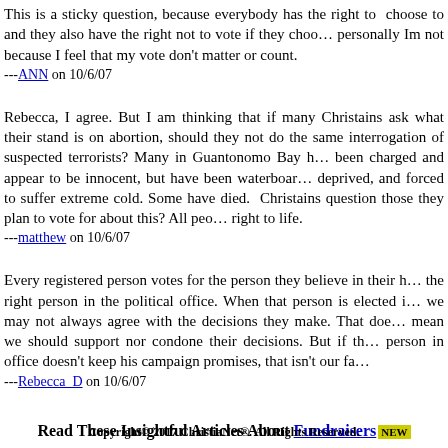This is a sticky question, because everybody has the right to choose to and they also have the right not to vote if they choose. personally Im not because I feel that my vote don't matter or count.
---ANN on 10/6/07
Rebecca, I agree. But I am thinking that if many Christains ask what their stand is on abortion, should they not do the same interrogation of suspected terrorists? Many in Guantonomo Bay have been charged and appear to be innocent, but have been waterboarded, deprived, and forced to suffer extreme cold. Some have died. Should Christains question those they plan to vote for about this? All people have a right to life.
---matthew on 10/6/07
Every registered person votes for the person they believe in their heart is the right person in the political office. When that person is elected into office, we may not always agree with the decisions they make. That doesn't mean we should support nor condone their decisions. But if the person in office doesn't keep his campaign promises, that isn't our fault.
---Rebecca_D on 10/6/07
Read These Insightful Articles About Fundraisers NEW
Copyright© 2017 ChristiaNet®. All Rights Reserved.